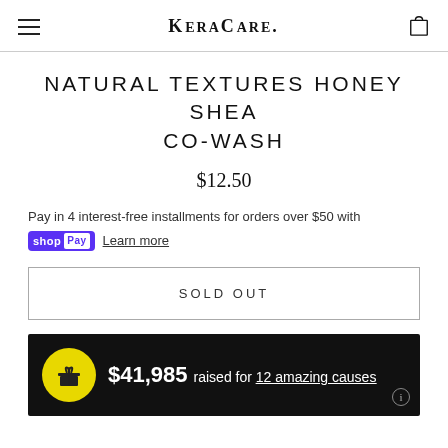KERACARE.
NATURAL TEXTURES HONEY SHEA CO-WASH
$12.50
Pay in 4 interest-free installments for orders over $50 with shop Pay  Learn more
SOLD OUT
$41,985 raised for 12 amazing causes